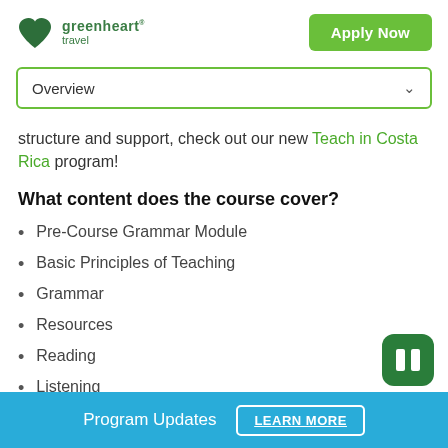greenheart travel | Apply Now
Overview
structure and support, check out our new Teach in Costa Rica program!
What content does the course cover?
Pre-Course Grammar Module
Basic Principles of Teaching
Grammar
Resources
Reading
Listening
Program Updates   LEARN MORE